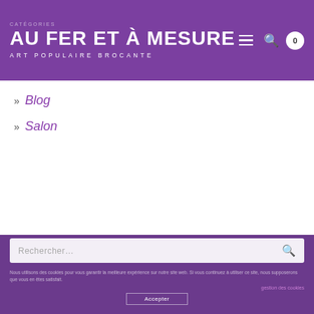CATÉGORIES AU FER ET À MESURE ART POPULAIRE BROCANTE
» Blog
» Salon
Rechercher...
gestion des cookies
Accepter